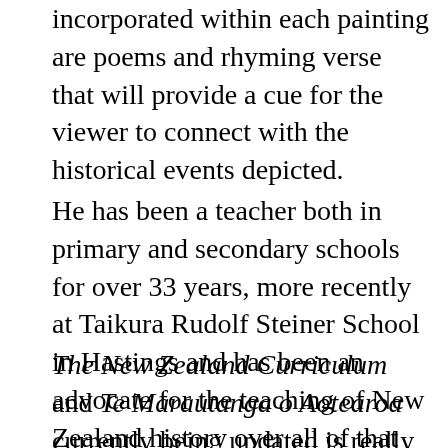incorporated within each painting are poems and rhyming verse that will provide a cue for the viewer to connect with the historical events depicted.
He has been a teacher both in primary and secondary schools for over 33 years, more recently at Taikura Rudolf Steiner School in Hastings and has been an advocate for the teaching of New Zealand history over all of that time.
The New Zealand Curriculum and Te Marautanga o Aotearoa currently being updated is really important to him. "The curriculum changes are coming into effect